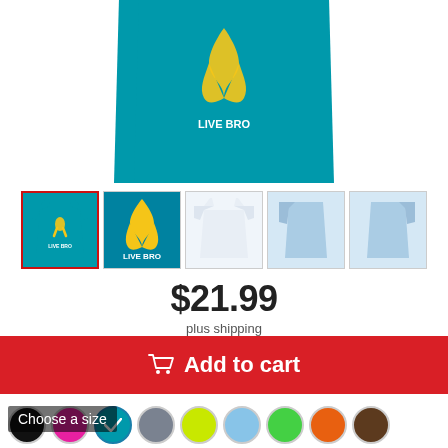[Figure (photo): Main product image: teal/turquoise t-shirt with yellow awareness ribbon and 'LIVE BRO' text, cropped to show lower portion of shirt]
[Figure (photo): Row of 5 product thumbnail images: (1) full teal t-shirt with ribbon logo selected with red border, (2) close-up of yellow ribbon on teal background with LIVE BRO text, (3) plain white t-shirt front, (4) light blue t-shirt left side view, (5) light blue t-shirt right side view]
$21.99
plus shipping
Add to cart
[Figure (infographic): Row of 9 color swatch circles: black, pink/magenta, teal (selected with checkmark), gray, yellow-green, light blue, green, orange, brown]
Choose a size